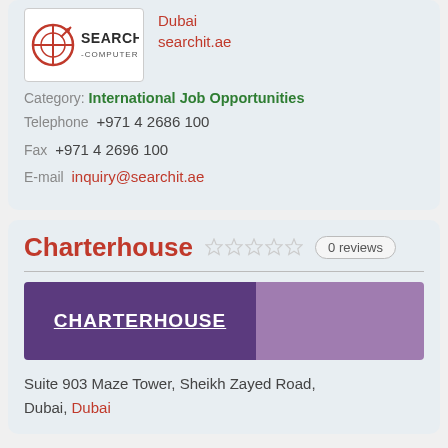[Figure (logo): Search Computers logo with red cross/target symbol and 'SEARCH -COMPUTERS-' text]
Dubai
searchit.ae
Category: International Job Opportunities
Telephone  +971 4 2686 100
Fax  +971 4 2696 100
E-mail  inquiry@searchit.ae
Charterhouse
0 reviews
[Figure (logo): Charterhouse logo with purple background, white underlined CHARTERHOUSE text, and lighter purple section on right]
Suite 903 Maze Tower, Sheikh Zayed Road, Dubai, Dubai